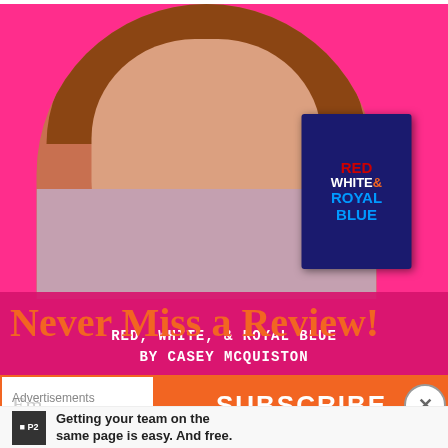[Figure (photo): Blog post image for Red, White, & Royal Blue by Casey McQuiston. Pink background with arched top, a smiling woman with brown wavy hair holding the book, bottom text reads 'Red, White, & Royal Blue by Casey McQuiston' and 'www.KatieHasAnxiety.com']
Never Miss a Review!
[Figure (other): Email subscription form with orange-bordered email input box showing 'Em...' placeholder and an orange SUBSCRIBE button, with an X close button]
Advertisements
[Figure (other): P2 advertisement: logo box with 'P2' text, and ad copy reading 'Getting your team on the same page is easy. And free.']